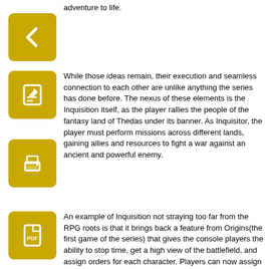adventure to life.
[Figure (illustration): Gold/yellow back arrow icon button]
While those ideas remain, their execution and seamless connection to each other are unlike anything the series has done before. The nexus of these elements is the Inquisition itself, as the player rallies the people of the fantasy land of Thedas under its banner. As Inquisitor, the player must perform missions across different lands, gaining allies and resources to fight a war against an ancient and powerful enemy.
[Figure (illustration): Gold/yellow edit/pencil icon button]
[Figure (illustration): Gold/yellow print icon button]
[Figure (illustration): Gold/yellow PDF/document icon button]
An example of Inquisition not straying too far from the RPG roots is that it brings back a feature from Origins(the first game of the series) that gives the console players the ability to stop time, get a high view of the battlefield, and assign orders for each character. Players can now assign orders, spells, and attack patterns with quick grace, allowing the player to quickly jump right back into the fray for real-time slicing with their character.  Another feature that has returned that players are sure to enjoy is instead of playing a race already chosen for the game, the player can now pick the race that was introduced in the first game. Now th...